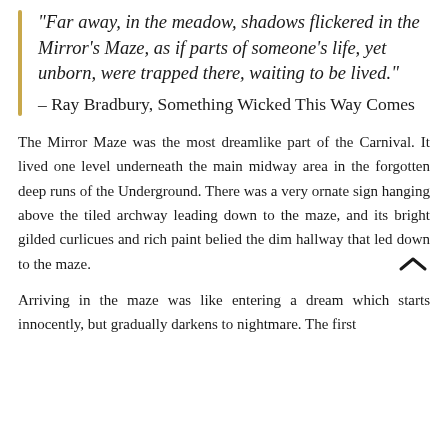“Far away, in the meadow, shadows flickered in the Mirror’s Maze, as if parts of someone’s life, yet unborn, were trapped there, waiting to be lived.” – Ray Bradbury, Something Wicked This Way Comes
The Mirror Maze was the most dreamlike part of the Carnival. It lived one level underneath the main midway area in the forgotten deep runs of the Underground. There was a very ornate sign hanging above the tiled archway leading down to the maze, and its bright gilded curlicues and rich paint belied the dim hallway that led down to the maze.
Arriving in the maze was like entering a dream which starts innocently, but gradually darkens to nightmare. The first